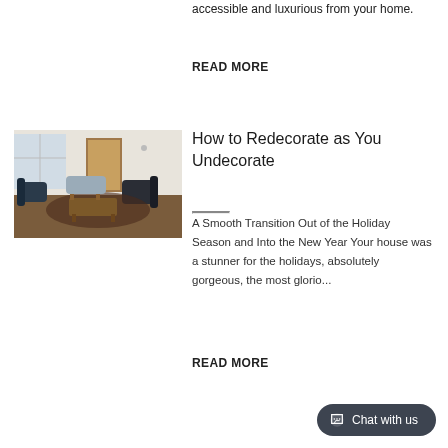accessible and luxurious from your home.
READ MORE
[Figure (photo): Interior living room with mid-century modern furniture, chairs, a coffee table, and wood floors]
How to Redecorate as You Undecorate
A Smooth Transition Out of the Holiday Season and Into the New Year Your house was a stunner for the holidays, absolutely gorgeous, the most glorio...
READ MORE
Chat with us